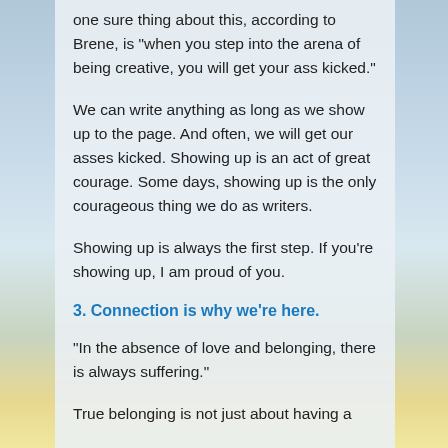one sure thing about this, according to Brene, is "when you step into the arena of being creative, you will get your ass kicked."
We can write anything as long as we show up to the page. And often, we will get our asses kicked. Showing up is an act of great courage. Some days, showing up is the only courageous thing we do as writers.
Showing up is always the first step. If you're showing up, I am proud of you.
3. Connection is why we're here.
"In the absence of love and belonging, there is always suffering."
True belonging is not just about having a